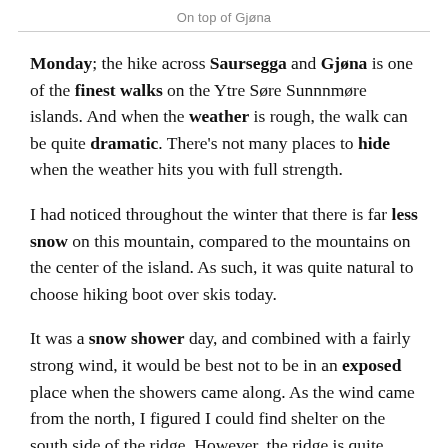On top of Gjøna
Monday;  the hike across Saursegga and Gjøna is one of the finest walks on the Ytre Søre Sunnnmøre islands. And when the weather is rough, the walk can be quite dramatic. There's not many places to hide when the weather hits you with full strength.
I had noticed throughout the winter that there is far less snow on this mountain, compared to the mountains on the center of the island. As such, it was quite natural to choose hiking boot over skis today.
It was a snow shower day, and combined with a fairly strong wind, it would be best not to be in an exposed place when the showers came along. As the wind came from the north, I figured I could find shelter on the south side of the ridge. However, the ridge is quite steep in places, so we could be unlucky.